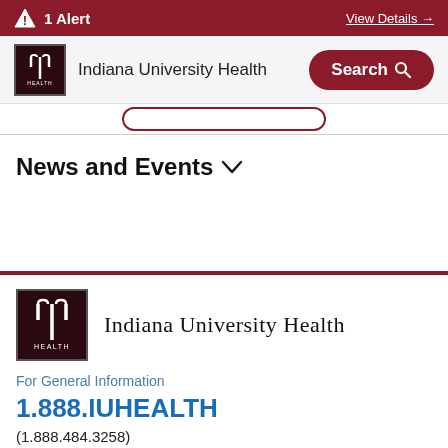1 Alert   View Details →
[Figure (logo): Indiana University Health logo with IU trident symbol in dark red box, header version]
Indiana University Health
Search
News and Events ∨
[Figure (logo): Indiana University Health logo with IU trident symbol in dark red box, footer version]
Indiana University Health
For General Information
1.888.IUHEALTH
(1.888.484.3258)